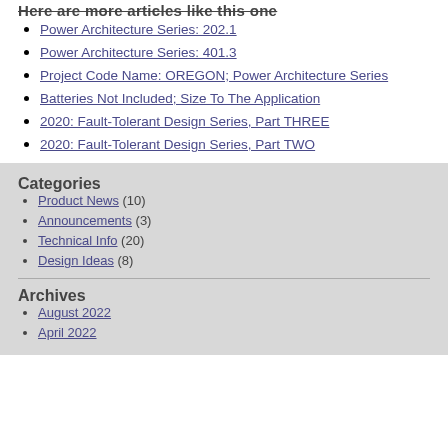Here are more articles like this one
Power Architecture Series: 202.1
Power Architecture Series: 401.3
Project Code Name: OREGON; Power Architecture Series
Batteries Not Included; Size To The Application
2020: Fault-Tolerant Design Series, Part THREE
2020: Fault-Tolerant Design Series, Part TWO
Categories
Product News (10)
Announcements (3)
Technical Info (20)
Design Ideas (8)
Archives
August 2022
April 2022